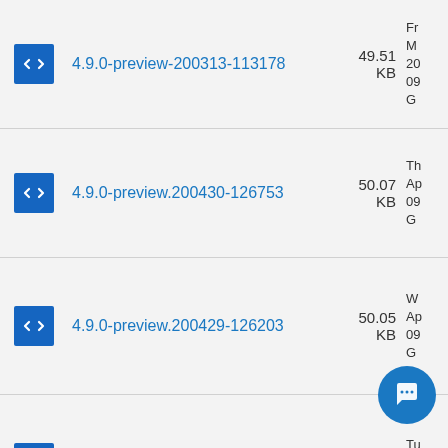4.9.0-preview-200313-113178, 49.51 KB, Fr M 20 09 G
4.9.0-preview.200430-126753, 50.07 KB, Th Ap 09 G
4.9.0-preview.200429-126203, 50.05 KB, W Ap 09 G
4.9.0-preview.200428-125670, 4x.xx KB, Tu Ap 09